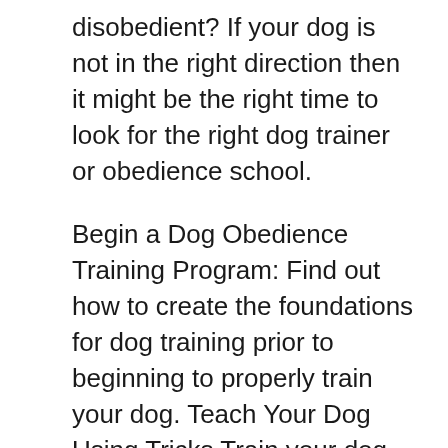disobedient? If your dog is not in the right direction then it might be the right time to look for the right dog trainer or obedience school.
Begin a Dog Obedience Training Program: Find out how to create the foundations for dog training prior to beginning to properly train your dog. Teach Your Dog Using Tricks Train your dog using tricks. They don't need to be complicated like tug-of-war, but fun tricks that get your dog's attention and engage their senses. This can get them excited about learning.
Train Your Dog to Learn Obedience Every Time It is the most important aspect in dog-training. It is not necessary to instruct every